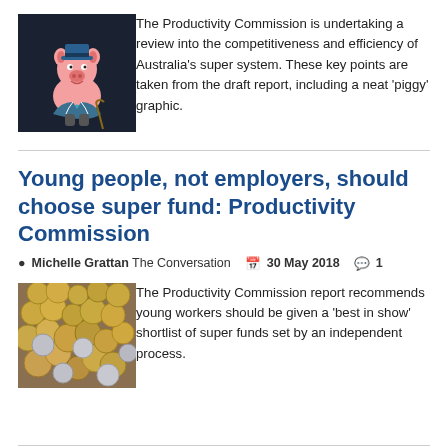[Figure (illustration): Cartoon pig dressed in a tuxedo with top hat on a dark navy background]
The Productivity Commission is undertaking a review into the competitiveness and efficiency of Australia's super system. These key points are taken from the draft report, including a neat 'piggy' graphic.
Young people, not employers, should choose super fund: Productivity Commission
Michelle Grattan The Conversation   30 May 2018   1
[Figure (photo): Pile of coins photographed from above]
The Productivity Commission report recommends young workers should be given a 'best in show' shortlist of super funds set by an independent process.